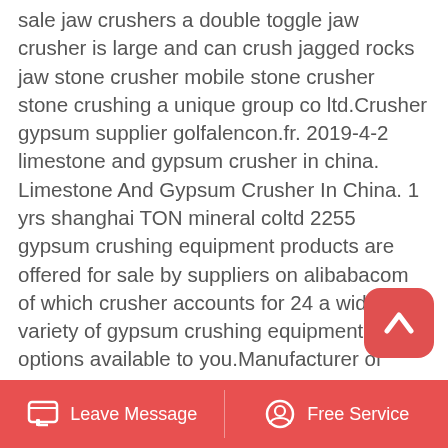sale jaw crushers a double toggle jaw crusher is large and can crush jagged rocks jaw stone crusher mobile stone crusher stone crushing a unique group co ltd.Crusher gypsum supplier golfalencon.fr. 2019-4-2 limestone and gypsum crusher in china. Limestone And Gypsum Crusher In China. 1 yrs shanghai TON mineral coltd 2255 gypsum crushing equipment products are offered for sale by suppliers on alibabacom of which crusher accounts for 24 a wide variety of gypsum crushing equipment options available to you.Manufacturer of gypsum crusher grinder of colombia. Rock Crusher Manufacturer In Algerie Allgemein. rock crusher manufacturer In algerie PE series jaw crusher machine In colombia gypsum mill plant In comoros potash feldspar produciton In france mobile cone crasher sell In malaysia tph stone crushing processing In
[Figure (other): Red rounded square button with white upward chevron/arrow icon (scroll to top button)]
Leave Message   Free Service